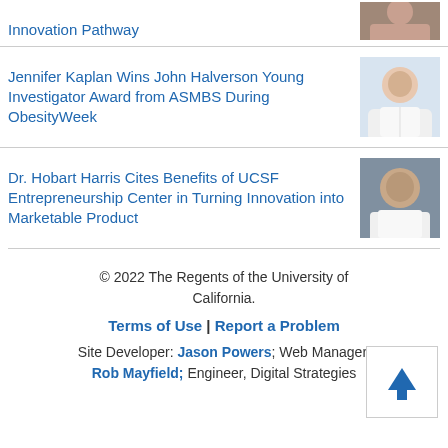Innovation Pathway
[Figure (photo): Partial photo of a person at top right]
Jennifer Kaplan Wins John Halverson Young Investigator Award from ASMBS During ObesityWeek
[Figure (photo): Photo of Jennifer Kaplan in white lab coat]
Dr. Hobart Harris Cites Benefits of UCSF Entrepreneurship Center in Turning Innovation into Marketable Product
[Figure (photo): Photo of Dr. Hobart Harris in white lab coat with UCSF logo]
© 2022 The Regents of the University of California. Terms of Use | Report a Problem Site Developer: Jason Powers; Web Manager, Rob Mayfield; Engineer, Digital Strategies